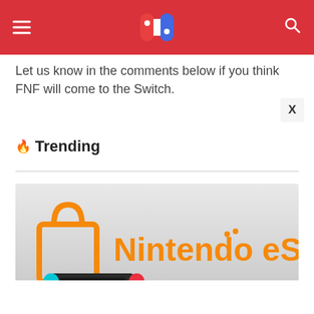Nintendo Switch logo header with hamburger menu and search icon
Let us know in the comments below if you think FNF will come to the Switch.
🔥 Trending
[Figure (photo): Nintendo eShop promotional image showing the orange Nintendo eShop logo (shopping bag icon with text 'Nintendo eShop') and Nintendo Switch hardware with neon red and neon blue Joy-Con controllers on a light grey background]